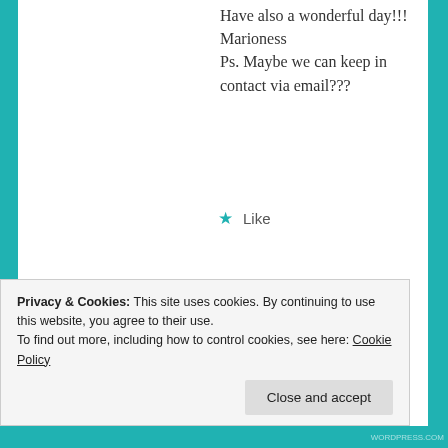Have also a wonderful day!!! Marioness Ps. Maybe we can keep in contact via email???
★ Like
FLAWEDSILENCE   October 29, 2016 at 5:36 pm
[Figure (photo): Round avatar photo of a person wearing a blue beanie and yellow jacket]
Yes I know the feeling! I love it when people (like you) stop by and say a massive hello! So thank you!
Privacy & Cookies: This site uses cookies. By continuing to use this website, you agree to their use. To find out more, including how to control cookies, see here: Cookie Policy
Close and accept